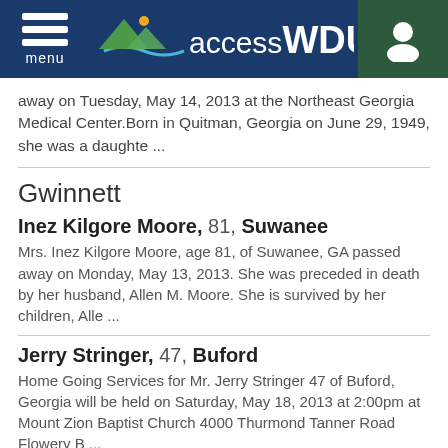accessWDUN
away on Tuesday, May 14, 2013 at the Northeast Georgia Medical Center.Born in Quitman, Georgia on June 29, 1949, she was a daughte ...
Gwinnett
Inez Kilgore Moore, 81, Suwanee
Mrs. Inez Kilgore Moore, age 81, of Suwanee, GA passed away on Monday, May 13, 2013. She was preceded in death by her husband, Allen M. Moore. She is survived by her children, Alle ...
Jerry Stringer, 47, Buford
Home Going Services for Mr. Jerry Stringer 47 of Buford, Georgia will be held on Saturday, May 18, 2013 at 2:00pm at Mount Zion Baptist Church 4000 Thurmond Tanner Road Flowery B ...
Habersham
Grace Sigers Blackwell, 81, Demorest